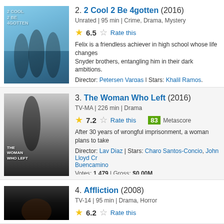2. 2 Cool 2 Be 4gotten (2016) — Unrated | 95 min | Crime, Drama, Mystery — Rating: 6.5 — Felix is a friendless achiever in high school whose life changes when he befriends the Snyder brothers, entangling him in their dark ambitions. Director: Petersen Vargas | Stars: Khalil Ramos, Ethan Salvador — Votes: 310
3. The Woman Who Left (2016) — TV-MA | 226 min | Drama — Rating: 7.2 — Metascore: 83 — After 30 years of wrongful imprisonment, a woman plans to take revenge. Director: Lav Diaz | Stars: Charo Santos-Concio, John Lloyd Cruz, Buencamino — Votes: 1,479 | Gross: $0.00M
4. Affliction (2008) — TV-14 | 95 min | Drama, Horror — Rating: 6.2